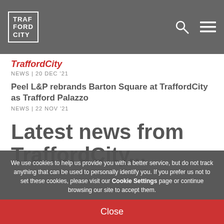[Figure (logo): TraffordCity logo in white text on grey navbar background, with search and menu icons]
TraffordCity
NEWS | 20 DEC '21
Peel L&P rebrands Barton Square at TraffordCity as Trafford Palazzo
NEWS | 22 NOV '21
Latest news from TraffordCity...
We use cookies to help us provide you with a better service, but do not track anything that can be used to personally identify you. If you prefer us not to set these cookies, please visit our Cookie Settings page or continue browsing our site to accept them.
Close